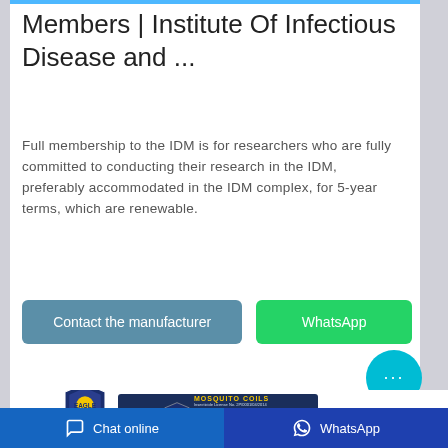Members | Institute Of Infectious Disease and ...
Full membership to the IDM is for researchers who are fully committed to conducting their research in the IDM, preferably accommodated in the IDM complex, for 5-year terms, which are renewable.
[Figure (screenshot): Two buttons: 'Contact the manufacturer' (blue-grey) and 'WhatsApp' (green)]
[Figure (logo): Shield logo icon with eagle emblem]
[Figure (photo): Product box for Mosquito Coils with shield logo and product details]
Chat online   WhatsApp